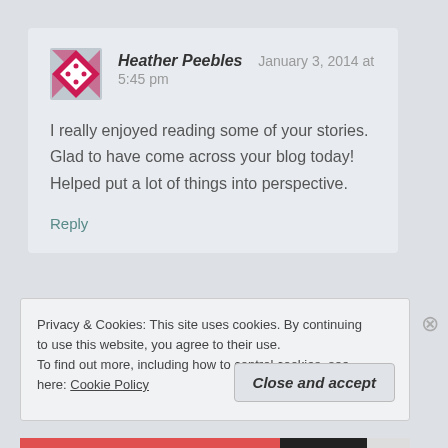[Figure (illustration): Avatar icon for Heather Peebles — a pink/red geometric diamond pattern on white background]
Heather Peebles   January 3, 2014 at 5:45 pm
I really enjoyed reading some of your stories. Glad to have come across your blog today! Helped put a lot of things into perspective.
Reply
Privacy & Cookies: This site uses cookies. By continuing to use this website, you agree to their use.
To find out more, including how to control cookies, see here: Cookie Policy
Close and accept